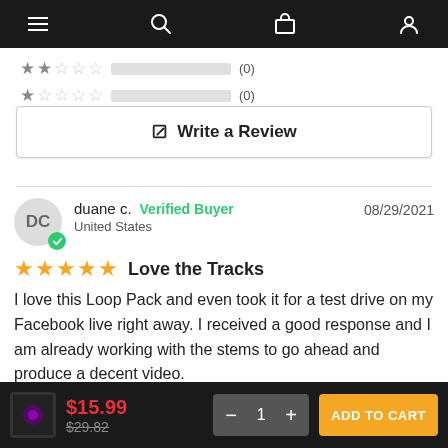Navigation bar with hamburger menu, search, cart, and account icons
[Figure (other): 2-star rating row with empty progress bar showing (0) reviews]
[Figure (other): 1-star rating row with empty progress bar showing (0) reviews]
✎ Write a Review
duane c.  Verified Buyer  08/29/2021
United States
★★★★★ Love the Tracks
I love this Loop Pack and even took it for a test drive on my Facebook live right away. I received a good response and I am already working with the stems to go ahead and produce a decent video.
$15.99  $29.82  — 1 +  ADD TO CART